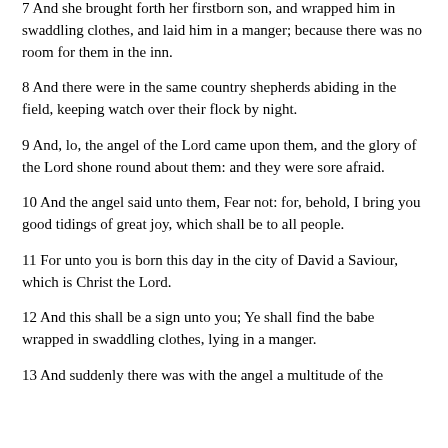7 And she brought forth her firstborn son, and wrapped him in swaddling clothes, and laid him in a manger; because there was no room for them in the inn.
8 And there were in the same country shepherds abiding in the field, keeping watch over their flock by night.
9 And, lo, the angel of the Lord came upon them, and the glory of the Lord shone round about them: and they were sore afraid.
10 And the angel said unto them, Fear not: for, behold, I bring you good tidings of great joy, which shall be to all people.
11 For unto you is born this day in the city of David a Saviour, which is Christ the Lord.
12 And this shall be a sign unto you; Ye shall find the babe wrapped in swaddling clothes, lying in a manger.
13 And suddenly there was with the angel a multitude of the